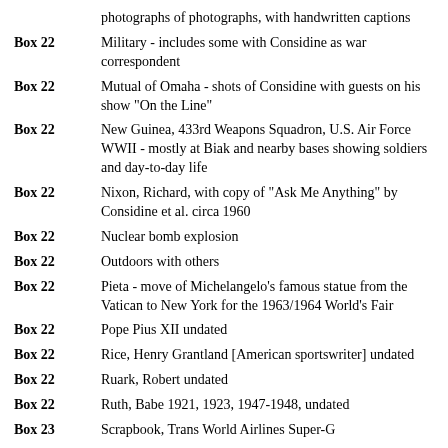photographs of photographs, with handwritten captions
Box 22 — Military - includes some with Considine as war correspondent
Box 22 — Mutual of Omaha - shots of Considine with guests on his show "On the Line"
Box 22 — New Guinea, 433rd Weapons Squadron, U.S. Air Force WWII - mostly at Biak and nearby bases showing soldiers and day-to-day life
Box 22 — Nixon, Richard, with copy of "Ask Me Anything" by Considine et al. circa 1960
Box 22 — Nuclear bomb explosion
Box 22 — Outdoors with others
Box 22 — Pieta - move of Michelangelo's famous statue from the Vatican to New York for the 1963/1964 World's Fair
Box 22 — Pope Pius XII undated
Box 22 — Rice, Henry Grantland [American sportswriter] undated
Box 22 — Ruark, Robert undated
Box 22 — Ruth, Babe 1921, 1923, 1947-1948, undated
Box 23 — Scrapbook, Trans World Airlines Super-G